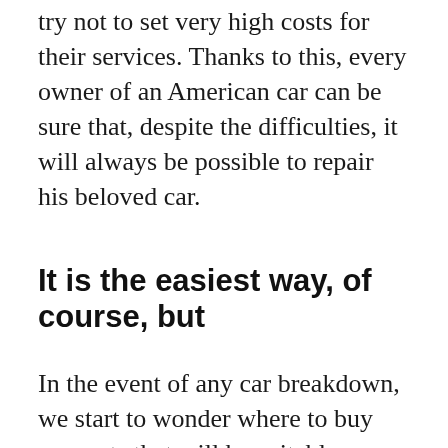try not to set very high costs for their services. Thanks to this, every owner of an American car can be sure that, despite the difficulties, it will always be possible to repair his beloved car.
It is the easiest way, of course, but
In the event of any car breakdown, we start to wonder where to buy car parts that will be suitable. Today it is not difficult, because the choice is huge and in virtually every car repair shop we can